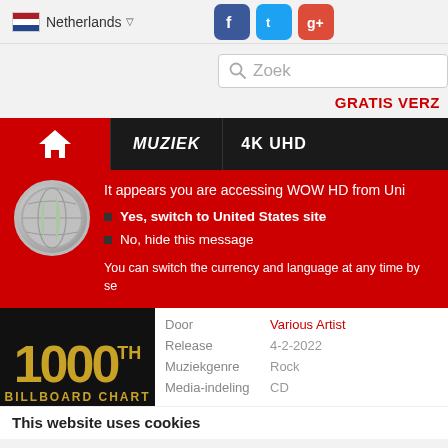Netherlands | Facebook Twitter Google+
[Figure (screenshot): Search box with 'Zoek' placeholder text]
GRATIS VERZ
[Figure (screenshot): Navigation bar with home icon, MUZIEK, 4K UHD menu items]
It appears you are accessing WOW HD from Uni
• Yes, switch to United States site
• No, hide this message
You can switch the currency and language at any time by se
|  |  |
| --- | --- |
| Door | Various Artis... |
| Release | 4-2-2022 |
| Muziekgenre | Rock |
| Media-indeling | CD |
This website uses cookies